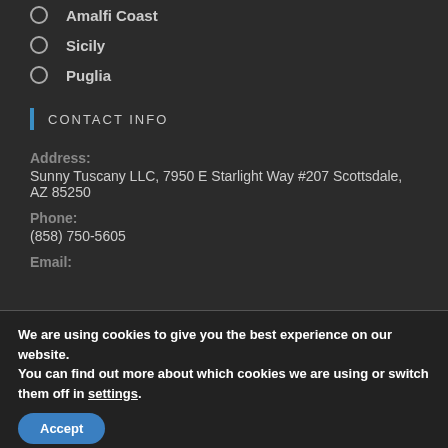Amalfi Coast
Sicily
Puglia
CONTACT INFO
Address:
Sunny Tuscany LLC, 7950 E Starlight Way #207 Scottsdale, AZ 85250
Phone:
(858) 750-5605
Email:
We are using cookies to give you the best experience on our website.
You can find out more about which cookies we are using or switch them off in settings.
Accept